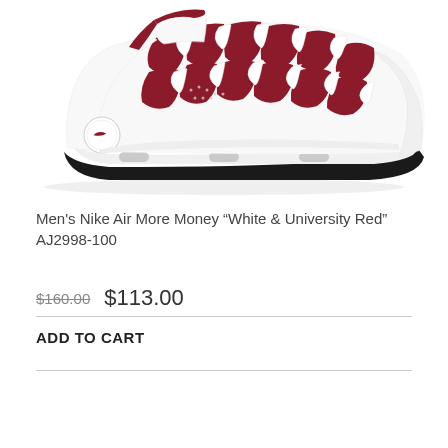[Figure (photo): Nike Air More Money sneaker in white with university red mesh panels and black accents, side profile view on white background]
Men's Nike Air More Money “White & University Red” AJ2998-100
$160.00  $113.00
ADD TO CART